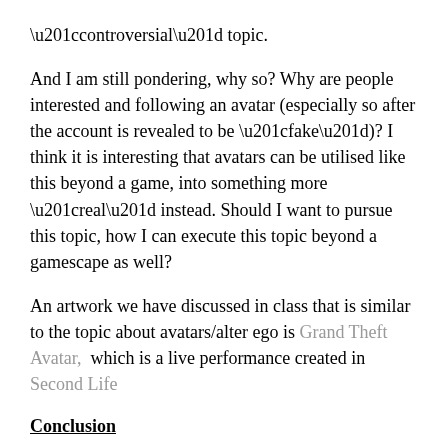“controversial” topic.
And I am still pondering, why so? Why are people interested and following an avatar (especially so after the account is revealed to be “fake”)? I think it is interesting that avatars can be utilised like this beyond a game, into something more “real” instead. Should I want to pursue this topic, how I can execute this topic beyond a gamescape as well?
An artwork we have discussed in class that is similar to the topic about avatars/alter ego is Grand Theft Avatar, which is a live performance created in Second Life
Conclusion
I want really interested in these two topics and would like to read up and dive deeper into these concepts more